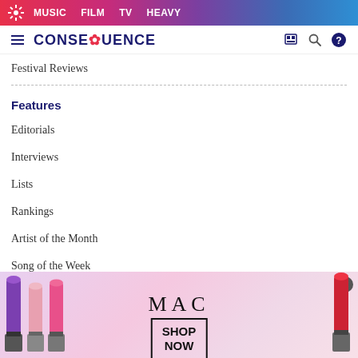MUSIC   FILM   TV   HEAVY
CONSEQUENCE
Festival Reviews
Features
Editorials
Interviews
Lists
Rankings
Artist of the Month
Song of the Week
[Figure (photo): MAC cosmetics advertisement banner showing colorful lipsticks on the left and right, MAC logo in center, with SHOP NOW button in a box. Close (X) button in top-right corner.]